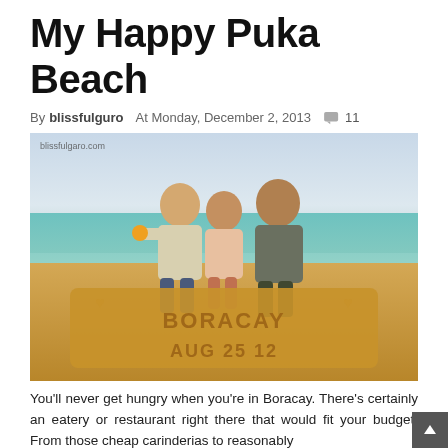My Happy Puka Beach
By blissfulguro   At Monday, December 2, 2013   💬 11
[Figure (photo): Three children standing behind a sand sculpture spelling 'Boracay Aug 25 12' on a beach with turquoise water in the background. Watermark: blissfulguro.com]
You'll never get hungry when you're in Boracay. There's certainly an eatery or restaurant right there that would fit your budget. From those cheap carinderias to reasonably